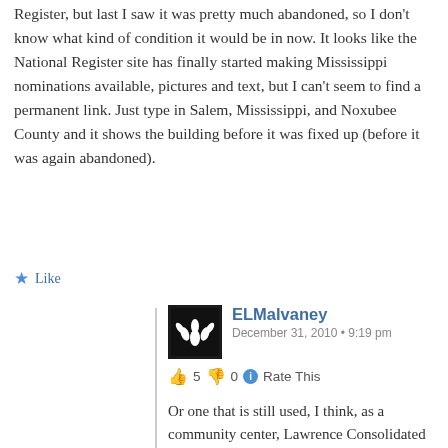Register, but last I saw it was pretty much abandoned, so I don't know what kind of condition it would be in now. It looks like the National Register site has finally started making Mississippi nominations available, pictures and text, but I can't seem to find a permanent link. Just type in Salem, Mississippi, and Noxubee County and it shows the building before it was fixed up (before it was again abandoned).
Like
ELMalvaney
December 31, 2010 • 9:19 pm
👍 5 👎 0 ℹ Rate This
Or one that is still used, I think, as a community center, Lawrence Consolidated School in Newton County, a nice two-story Craftsman-influenced building:
http://www.flickr.com/photos/26519181@N06/332702
Like